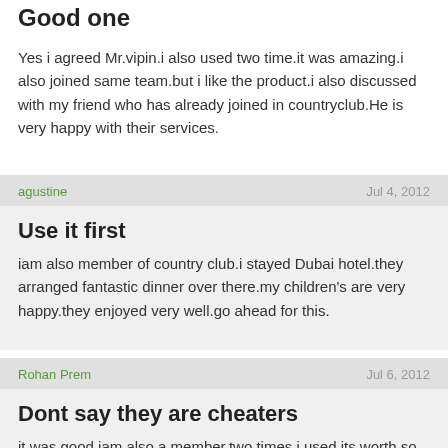Good one
Yes i agreed Mr.vipin.i also used two time.it was amazing.i also joined same team.but i like the product.i also discussed with my friend who has already joined in countryclub.He is very happy with their services.
agustine | Jul 4, 2012
Use it first
iam also member of country club.i stayed Dubai hotel.they arranged fantastic dinner over there.my children's are very happy.they enjoyed very well.go ahead for this.
Rohan Prem | Jul 6, 2012
Dont say they are cheaters
it was good.iam also a member.two times i used its worth.so gentlements please use first then only you know